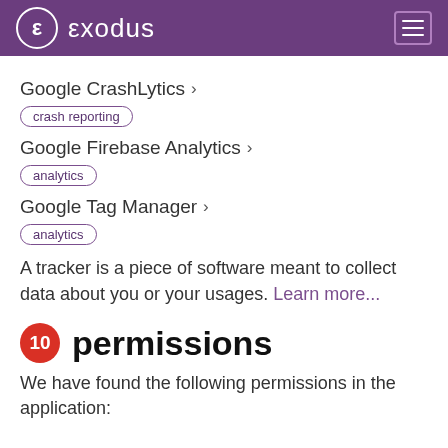exodus
Google CrashLytics > crash reporting
Google Firebase Analytics > analytics
Google Tag Manager > analytics
A tracker is a piece of software meant to collect data about you or your usages. Learn more...
10 permissions
We have found the following permissions in the application: